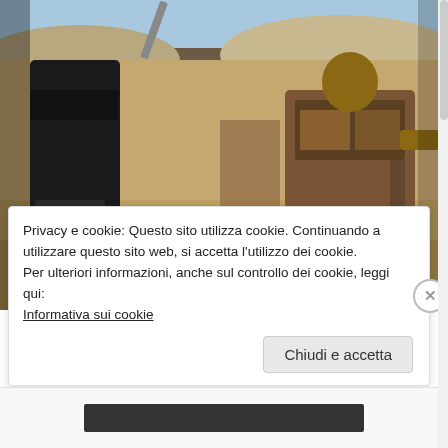[Figure (photo): Behind-the-scenes photograph from movie set, showing actors in barbarian/warrior costumes in a desert sandy environment. A film clapperboard reading 'CONAN' is visible on the ground. One actor in black clothing on the left, another in tan/brown warrior gear seated on the right, appearing to laugh or speak.]
Privacy e cookie: Questo sito utilizza cookie. Continuando a utilizzare questo sito web, si accetta l'utilizzo dei cookie.
Per ulteriori informazioni, anche sul controllo dei cookie, leggi qui:
Informativa sui cookie
Chiudi e accetta